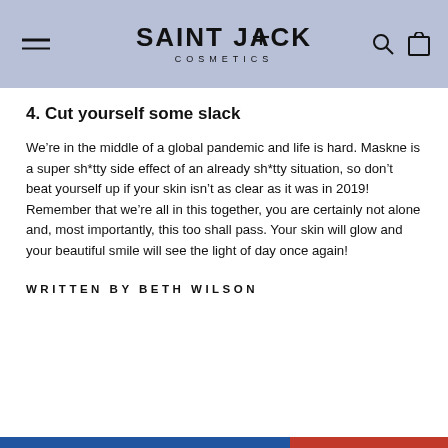SAINT JACK COSMETICS
4. Cut yourself some slack
We're in the middle of a global pandemic and life is hard. Maskne is a super sh*tty side effect of an already sh*tty situation, so don't beat yourself up if your skin isn't as clear as it was in 2019! Remember that we're all in this together, you are certainly not alone and, most importantly, this too shall pass. Your skin will glow and your beautiful smile will see the light of day once again!
WRITTEN BY BETH WILSON